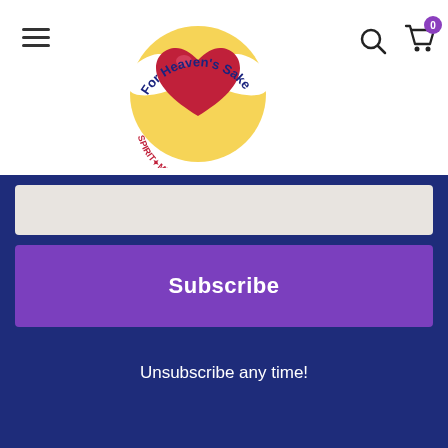[Figure (logo): For Heaven's Sake logo with a winged heart and text Spirit Mind Body in circular arrangement]
Subscribe
Unsubscribe any time!
ABOUT THE SHOP
RETURNS & REPLACEMENTS
NEWSLETTER